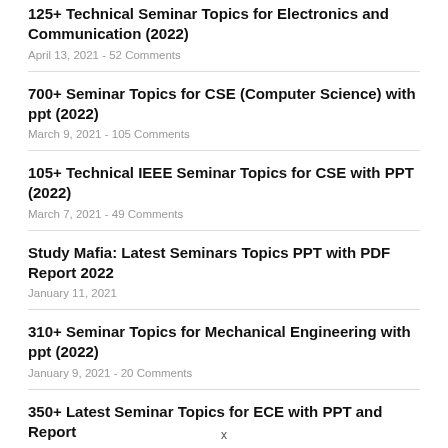125+ Technical Seminar Topics for Electronics and Communication (2022)
April 13, 2021 - 52 Comments
700+ Seminar Topics for CSE (Computer Science) with ppt (2022)
March 9, 2021 - 105 Comments
105+ Technical IEEE Seminar Topics for CSE with PPT (2022)
March 7, 2021 - 49 Comments
Study Mafia: Latest Seminars Topics PPT with PDF Report 2022
January 11, 2021
310+ Seminar Topics for Mechanical Engineering with ppt (2022)
January 9, 2021 - 20 Comments
350+ Latest Seminar Topics for ECE with PPT and Report
x